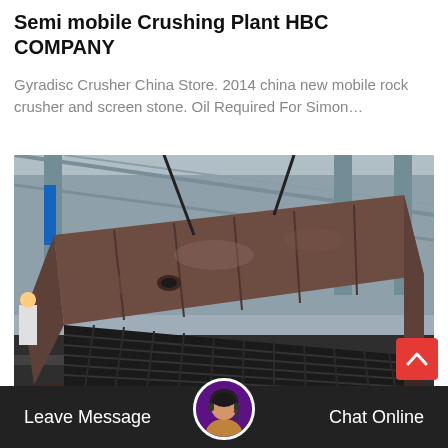Semi mobile Crushing Plant HBC COMPANY
Gyradisc Crusher China Store. 2014 china new mobile rock crusher and screen stone. Oil Required For Simon…
[Figure (photo): Large industrial steel crushing plant structure photographed in a factory/warehouse setting. The structure is a heavy rusted steel frame inclined at an angle, resembling a vibrating screen or feeder component of a semi-mobile crushing plant. Industrial building with metal roof trusses visible in background.]
Leave Message    Chat Online